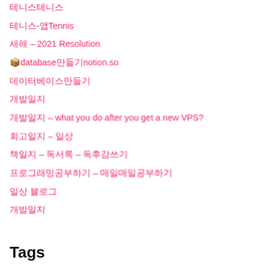테니스테니스
테니스-앱Tennis
새해 – 2021 Resolution
📦database만들기notion.so
데이터베이스만들기
개발일지
개발일지 – what you do after you get a new VPS?
회고일지 – 일상
책일지 – 독서록 – 독후감쓰기
프로그래밍공부하기 – 매일매일공부하기
일상 블로그
개발일지
Tags